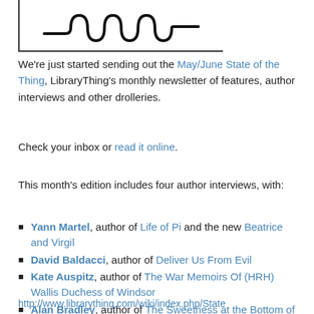[Figure (logo): LibraryThing logo — a stylized coil/spring shape in black, inside a bordered box]
We're just started sending out the May/June State of the Thing, LibraryThing's monthly newsletter of features, author interviews and other drolleries.
Check your inbox or read it online.
This month's edition includes four author interviews, with:
Yann Martel, author of Life of Pi and the new Beatrice and Virgil
David Baldacci, author of Deliver Us From Evil
Kate Auspitz, author of The War Memoirs Of (HRH) Wallis Duchess of Windsor
Alan Bradley, author of The Sweetness at the Bottom of the Pie and the new The Weed That Strings the Hangman's Bag
http://www.librarything.com/wiki/index.php/State